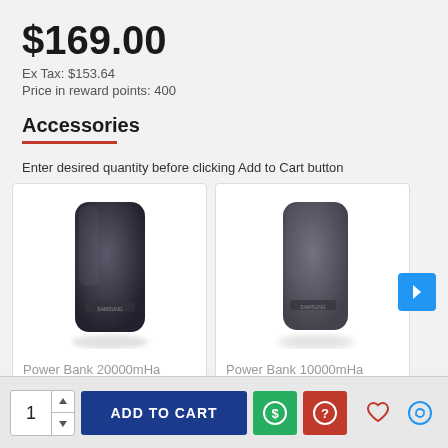$169.00
Ex Tax: $153.64
Price in reward points: 400
Accessories
Enter desired quantity before clicking Add to Cart button
[Figure (screenshot): Product card showing Power Bank 20000mHa with image of black power bank]
[Figure (screenshot): Product card showing Power Bank 10000mHa with image of black power bank]
Power Bank 20000mHa
Power Bank 10000mHa